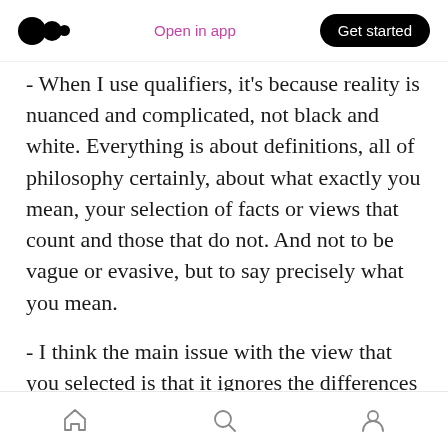Medium logo | Open in app | Get started
- When I use qualifiers, it's because reality is nuanced and complicated, not black and white. Everything is about definitions, all of philosophy certainly, about what exactly you mean, your selection of facts or views that count and those that do not. And not to be vague or evasive, but to say precisely what you mean.
- I think the main issue with the view that you selected is that it ignores the differences in what life is like in Russia and outside of Russia, and what it had been like in my part of the world when Russia was ruling things. What life is like
Home | Search | Profile